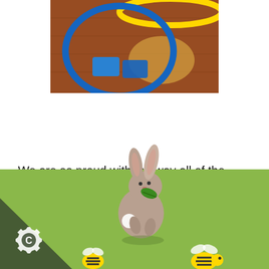[Figure (photo): Photo of blue and yellow hula hoops and blue foam squares/blocks on a wooden parquet floor, viewed from above.]
We are so proud with the way all of the Nursery children, new and returning children, have settled in. We are following their interests and playing alongside them so they can show and tell us how clever they are.
[Figure (illustration): Green background illustration showing cartoon animals: a rabbit holding a green leaf in the center, and two bee characters at the bottom. A dark triangle shape is in the bottom-left corner with a white gear/cog icon containing the letter C.]